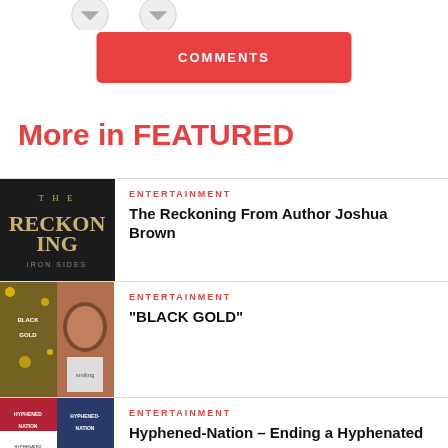[Figure (other): Two downward arrow icons at top of page]
COMMENTS
More in FEATURED
[Figure (photo): Book cover: THE RECKONING by Iron Sides]
ENTERTAINMENT
The Reckoning From Author Joshua Brown
[Figure (photo): Two images side by side: Black Gold book cover and a woman smiling]
ENTERTAINMENT
“BLACK GOLD”
[Figure (photo): Two images side by side: Hyphened-Nation book/magazine covers with US flag]
ENTERTAINMENT
Hyphened-Nation – Ending a Hyphenated